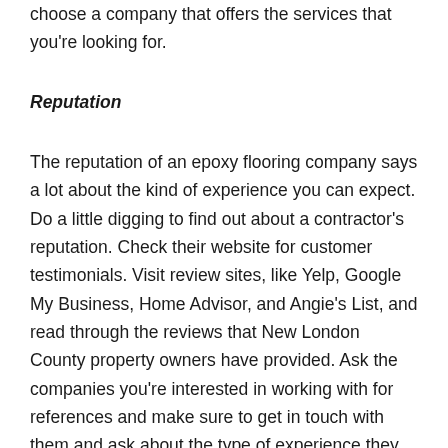choose a company that offers the services that you're looking for.
Reputation
The reputation of an epoxy flooring company says a lot about the kind of experience you can expect. Do a little digging to find out about a contractor's reputation. Check their website for customer testimonials. Visit review sites, like Yelp, Google My Business, Home Advisor, and Angie's List, and read through the reviews that New London County property owners have provided. Ask the companies you're interested in working with for references and make sure to get in touch with them and ask about the type of experience they had and whether or not they were satisfied with the results the contractor delivered. You want to be sure that the epoxy flooring company you choose is highly reputable.